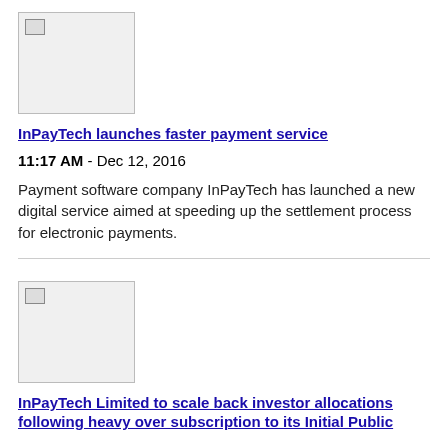[Figure (photo): Placeholder image for InPayTech article about faster payment service]
InPayTech launches faster payment service
11:17 AM - Dec 12, 2016
Payment software company InPayTech has launched a new digital service aimed at speeding up the settlement process for electronic payments.
[Figure (photo): Placeholder image for InPayTech Limited article about investor allocations and IPO]
InPayTech Limited to scale back investor allocations following heavy over subscription to its Initial Public